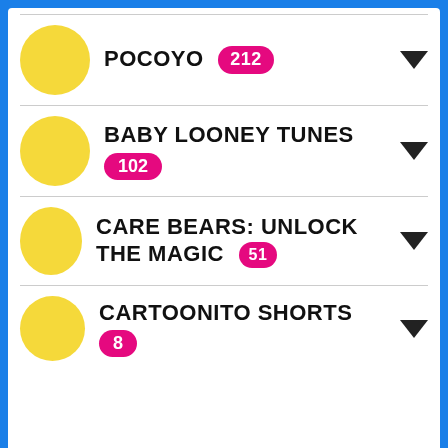POCOYO 212
BABY LOONEY TUNES 102
CARE BEARS: UNLOCK THE MAGIC 51
CARTOONITO SHORTS 8